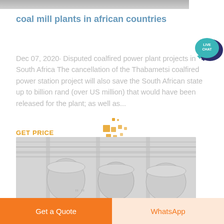[Figure (photo): Partial top image, cropped industrial/plant scene in grayscale]
coal mill plants in african countries
[Figure (illustration): Live Chat speech bubble badge — teal bubble with 'LIVE CHAT' text and dark blue speech bubble icon]
Dec 07, 2020· Disputed coalfired power plant projects in South Africa The cancellation of the Thabametsi coalfired power station project will also save the South African state up to billion rand (over US million) that would have been released for the plant; as well as...
GET PRICE
[Figure (illustration): Decorative gold/yellow pixel-art style dots and squares icon]
[Figure (photo): Interior of industrial plant/factory with large cylindrical tanks and steel framework, grayscale/faded]
Get a Quote
WhatsApp